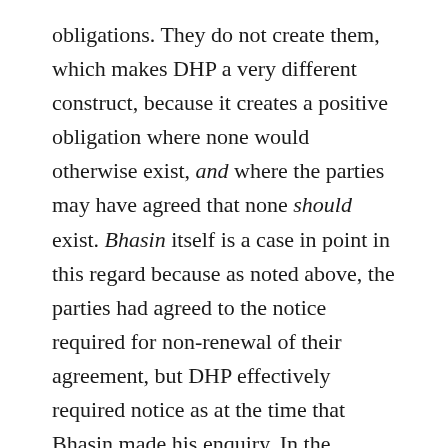obligations. They do not create them, which makes DHP a very different construct, because it creates a positive obligation where none would otherwise exist, and where the parties may have agreed that none should exist. Bhasin itself is a case in point in this regard because as noted above, the parties had agreed to the notice required for non-renewal of their agreement, but DHP effectively required notice as at the time that Bhasin made his enquiry. In the circumstances of Bhasin's case, this changed amounted to approximately nine additional months of notice. [23] I note that this change may not seem like much to some, but I must